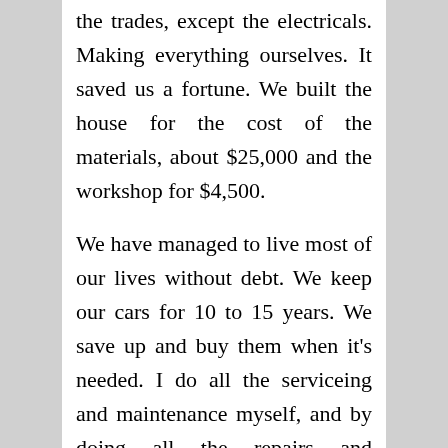the trades, except the electricals. Making everything ourselves. It saved us a fortune. We built the house for the cost of the materials, about $25,000 and the workshop for $4,500.

We have managed to live most of our lives without debt. We keep our cars for 10 to 15 years. We save up and buy them when it's needed. I do all the serviceing and maintenance myself, and by doing all the repairs and maintenance around the house and property, we end up not spending very much money at all. It's a badge of honor to keep the 40 year old kitchen stove repaired and working, as well as the 25 year old lawn mower, the 22 year old washing machine